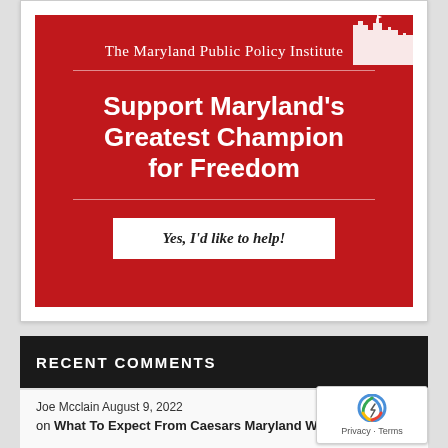[Figure (screenshot): Maryland Public Policy Institute donation banner — red background with white silhouette skyline, organization name in serif font, main headline 'Support Maryland's Greatest Champion for Freedom', horizontal dividers, and a white button 'Yes, I'd like to help!']
RECENT COMMENTS
Joe Mcclain August 9, 2022
on What To Expect From Caesars Maryland When It